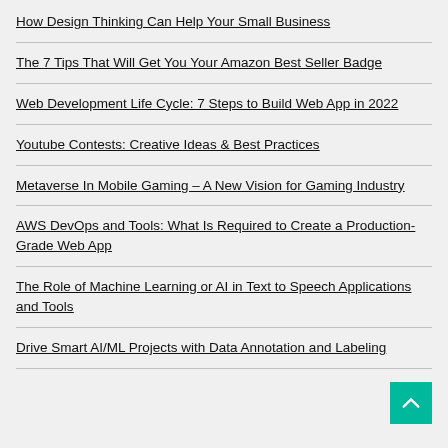How Design Thinking Can Help Your Small Business
The 7 Tips That Will Get You Your Amazon Best Seller Badge
Web Development Life Cycle: 7 Steps to Build Web App in 2022
Youtube Contests: Creative Ideas & Best Practices
Metaverse In Mobile Gaming – A New Vision for Gaming Industry
AWS DevOps and Tools: What Is Required to Create a Production-Grade Web App
The Role of Machine Learning or AI in Text to Speech Applications and Tools
Drive Smart AI/ML Projects with Data Annotation and Labeling